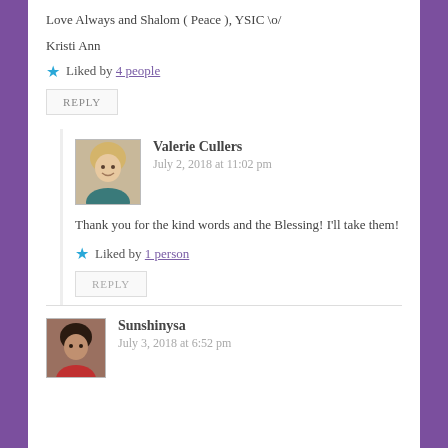Love Always and Shalom ( Peace ), YSIC \o/
Kristi Ann
Liked by 4 people
REPLY
Valerie Cullers
July 2, 2018 at 11:02 pm
Thank you for the kind words and the Blessing! I'll take them!
Liked by 1 person
REPLY
Sunshinysa
July 3, 2018 at 6:52 pm